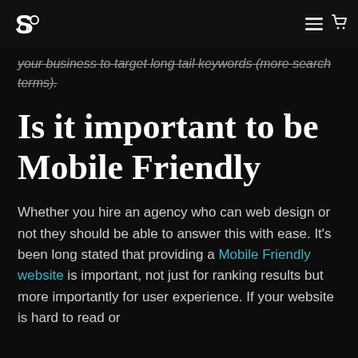Logo and navigation icons
your business to target long tail keywords (more search terms).
Is it important to be Mobile Friendly
Whether you hire an agency who can web design or not they should be able to answer this with ease. It's been long stated that providing a Mobile Friendly website is important, not just for ranking results but more importantly for user experience. If your website is hard to read or